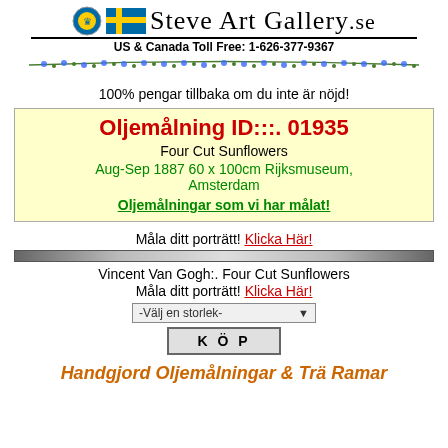[Figure (logo): Steve Art Gallery .se logo with Swedish coat of arms, Swedish flag, and stylized text. Underline below logo text.]
US & Canada Toll Free: 1-626-377-9367
[Figure (illustration): Decorative flower/vine divider in green and blue]
100% pengar tillbaka om du inte är nöjd!
Oljemålning ID:::. 01935
Four Cut Sunflowers
Aug-Sep 1887 60 x 100cm Rijksmuseum, Amsterdam
Oljemålningar som vi har målat!
Måla ditt porträtt! Klicka Här!
Vincent Van Gogh:. Four Cut Sunflowers
Måla ditt porträtt! Klicka Här!
-Välj en storlek-
KÖP
Handgjord Oljemålningar & Trä Ramar